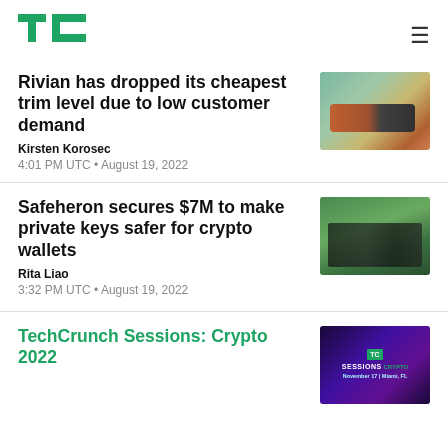TechCrunch logo + hamburger menu
Rivian has dropped its cheapest trim level due to low customer demand
Kirsten Korosec
4:01 PM UTC • August 19, 2022
[Figure (photo): Cars parked in a scenic mountain area, Rivian vehicles]
Safeheron secures $7M to make private keys safer for crypto wallets
Rita Liao
3:32 PM UTC • August 19, 2022
[Figure (photo): Group of people standing in a green outdoor setting]
TechCrunch Sessions: Crypto 2022
[Figure (photo): TechCrunch Sessions Crypto 2022 event banner with TC logo, November 17, Miami FL]